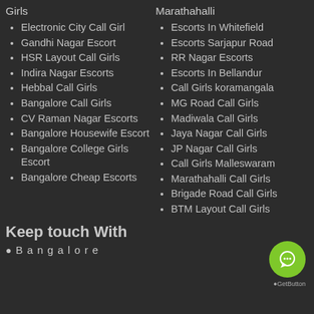Girls
Electronic City Call Girl
Gandhi Nagar Escort
HSR Layout Call Girls
Indira Nagar Escorts
Hebbal Call Girls
Bangalore Call Girls
CV Raman Nagar Escorts
Bangalore Housewife Escort
Bangalore College Girls Escort
Bangalore Cheap Escorts
Marathahalli
Escorts In Whitefield
Escorts Sarjapur Road
RR Nagar Escorts
Escorts In Bellandur
Call Girls koramangala
MG Road Call Girls
Madiwala Call Girls
Jaya Nagar Call Girls
JP Nagar Call Girls
Call Girls Malleswaram
Marathahalli Call Girls
Brigade Road Call Girls
BTM Layout Call Girls
Keep touch With
Bangalore